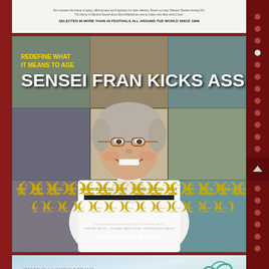[Figure (photo): Top portion of a film poster shown in a white/light background strip. Small text describes film festival selections. Bold text reads: SELECTED IN MORE THAN 40 FESTIVALS ALL AROUND THE WORLD SINCE 1996]
[Figure (photo): Main movie poster for 'Sensei Fran Kicks Ass'. The poster shows an elderly woman in a white karate gi smiling at the camera, with a collage of action scenes behind her. Yellow tagline at top reads 'REDEFINE WHAT IT MEANS TO AGE'. Large white title text 'SENSEI FRAN KICKS ASS'. Multiple film festival laurel awards shown at the bottom. Credits and website SENSEIFRAN.COM shown at very bottom.]
[Figure (photo): Partial view of a second movie poster at the bottom of the page. Light blue-green gradient background. Text reads: 'HOPE IS A WAKING DREAM' and large text 'A GIRL' partially visible, with a teal decorative logo/script element on the right.]